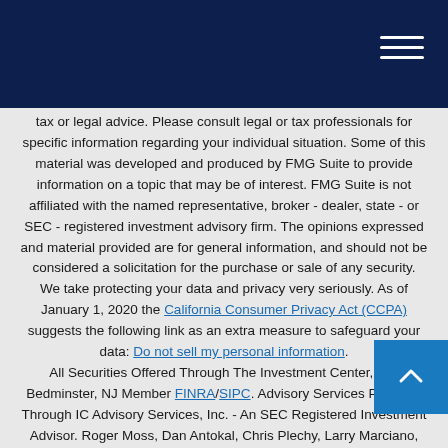tax or legal advice. Please consult legal or tax professionals for specific information regarding your individual situation. Some of this material was developed and produced by FMG Suite to provide information on a topic that may be of interest. FMG Suite is not affiliated with the named representative, broker - dealer, state - or SEC - registered investment advisory firm. The opinions expressed and material provided are for general information, and should not be considered a solicitation for the purchase or sale of any security.
We take protecting your data and privacy very seriously. As of January 1, 2020 the California Consumer Privacy Act (CCPA) suggests the following link as an extra measure to safeguard your data: Do not sell my personal information.
All Securities Offered Through The Investment Center, Inc. Bedminster, NJ Member FINRA/SIPC. Advisory Services Provided Through IC Advisory Services, Inc. - An SEC Registered Investment Advisor. Roger Moss, Dan Antokal, Chris Plechy, Larry Marciano, Robert Payne, and Lynn Liaskos are Registered Representatives of The Investment Center, Inc. Montville Financial Group is not affiliated with The Investment Center, Inc. or IC Advisory Services, Inc.
Disclosure